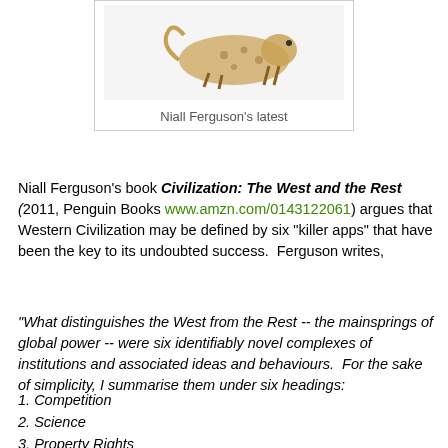[Figure (illustration): Book cover illustration for Niall Ferguson's Civilization: The West and the Rest, showing a decorative animal figure]
Niall Ferguson's latest
Niall Ferguson's book Civilization: The West and the Rest (2011, Penguin Books www.amzn.com/0143122061) argues that Western Civilization may be defined by six "killer apps" that have been the key to its undoubted success.  Ferguson writes,
"What distinguishes the West from the Rest -- the mainsprings of global power -- were six identifiably novel complexes of institutions and associated ideas and behaviours.  For the sake of simplicity, I summarise them under six headings:
1. Competition
2. Science
3. Property Rights
4. Medicine
5. The consumer society